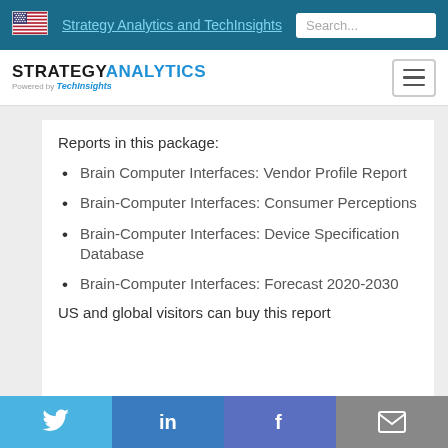Strategy Analytics and TechInsights
[Figure (logo): Strategy Analytics powered by TechInsights logo]
Reports in this package:
Brain Computer Interfaces: Vendor Profile Report
Brain-Computer Interfaces: Consumer Perceptions
Brain-Computer Interfaces: Device Specification Database
Brain-Computer Interfaces: Forecast 2020-2030
US and global visitors can buy this report
Social share buttons: Twitter, LinkedIn, Facebook, Email